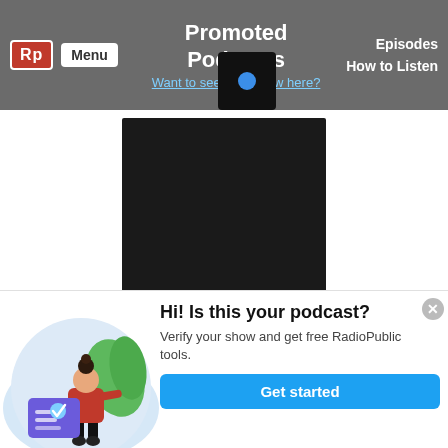Promoted Podcasts | Menu | Want to see your show here? | Episodes | How to Listen
[Figure (screenshot): Podcast cover art — dark/black square thumbnail for 'How I Sold This' podcast]
How I Sold This
The ‘How I Sold This’ podcast takes you inside the world of startup acquisitions and liquidations, featuring the stories told from entrepreneurs who ...
[Figure (illustration): Illustrated woman in red top standing next to a checklist/form, with green leaves in background, on a light blue circular background]
Hi! Is this your podcast?
Verify your show and get free RadioPublic tools.
Get started